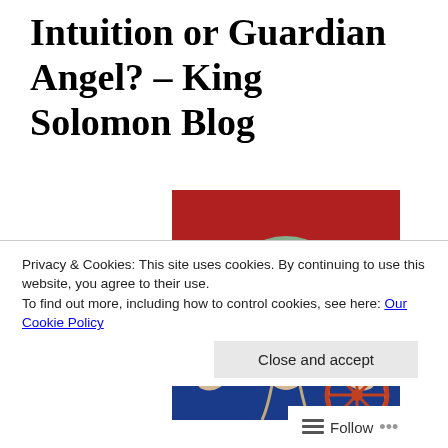Intuition or Guardian Angel? – King Solomon Blog
[Figure (illustration): Medieval illuminated manuscript illustration of an angel with multiple wings, depicted in a Byzantine-style with red and blue background, featuring a wheel in the bottom right corner.]
Privacy & Cookies: This site uses cookies. By continuing to use this website, you agree to their use.
To find out more, including how to control cookies, see here: Our Cookie Policy
Close and accept
Follow